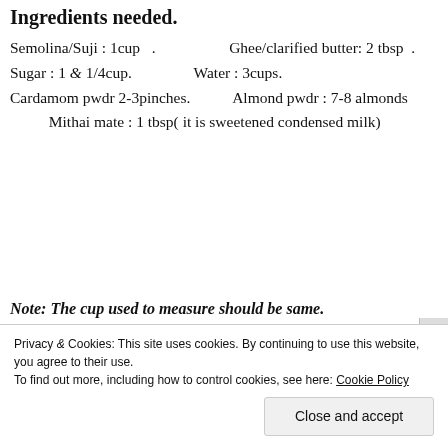Ingredients needed.
Semolina/Suji : 1cup  .                 Ghee/clarified butter: 2 tbsp  .    Sugar : 1 & 1/4cup.              Water : 3cups.                        Cardamom pwdr 2-3pinches.         Almond pwdr : 7-8 almonds         Mithai mate : 1 tbsp( it is sweetened condensed milk)
Note: The cup used to measure should be same.
Privacy & Cookies: This site uses cookies. By continuing to use this website, you agree to their use.
To find out more, including how to control cookies, see here: Cookie Policy